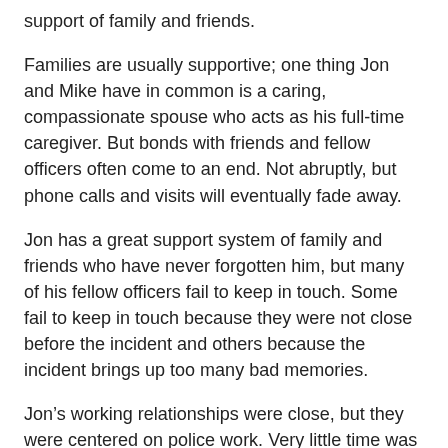support of family and friends.
Families are usually supportive; one thing Jon and Mike have in common is a caring, compassionate spouse who acts as his full-time caregiver. But bonds with friends and fellow officers often come to an end. Not abruptly, but phone calls and visits will eventually fade away.
Jon has a great support system of family and friends who have never forgotten him, but many of his fellow officers fail to keep in touch. Some fail to keep in touch because they were not close before the incident and others because the incident brings up too many bad memories.
Jon’s working relationships were close, but they were centered on police work. Very little time was spent off-duty with fellow officers, because Jon was going back to school to complete his bachelor’s degree in